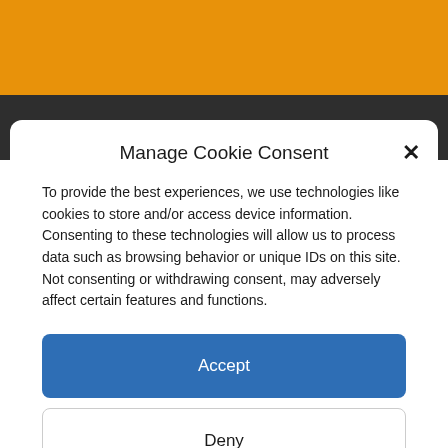Manage Cookie Consent
To provide the best experiences, we use technologies like cookies to store and/or access device information. Consenting to these technologies will allow us to process data such as browsing behavior or unique IDs on this site. Not consenting or withdrawing consent, may adversely affect certain features and functions.
Accept
Deny
View preferences
Cookie Policy  Privacy Statement